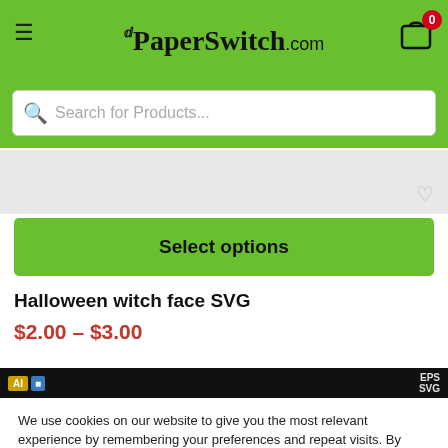ThePaperSwitch.com
Search for Products...
[Figure (screenshot): Partial product image (Halloween witch face SVG) with heart/wishlist icon]
Select options
Halloween witch face SVG
$2.00 – $3.00
[Figure (screenshot): Product image strip showing file format badges (AI, EPS, SVG) on dark background]
We use cookies on our website to give you the most relevant experience by remembering your preferences and repeat visits. By clicking “Accept”, you consent to the use of ALL the cookies.
ACCEPT